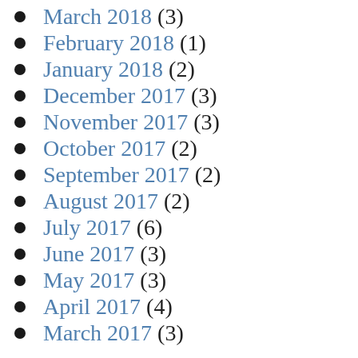March 2018 (3)
February 2018 (1)
January 2018 (2)
December 2017 (3)
November 2017 (3)
October 2017 (2)
September 2017 (2)
August 2017 (2)
July 2017 (6)
June 2017 (3)
May 2017 (3)
April 2017 (4)
March 2017 (3)